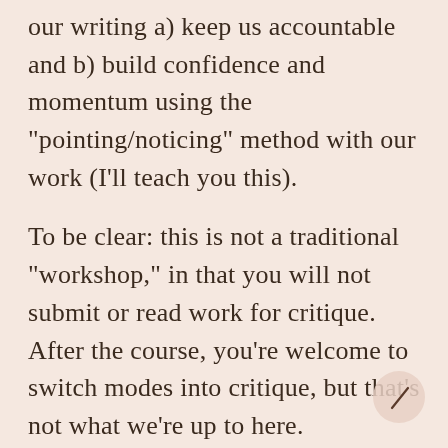our writing a) keep us accountable and b) build confidence and momentum using the "pointing/noticing" method with our work (I'll teach you this).
To be clear: this is not a traditional "workshop," in that you will not submit or read work for critique. After the course, you're welcome to switch modes into critique, but that's not what we're up to here.